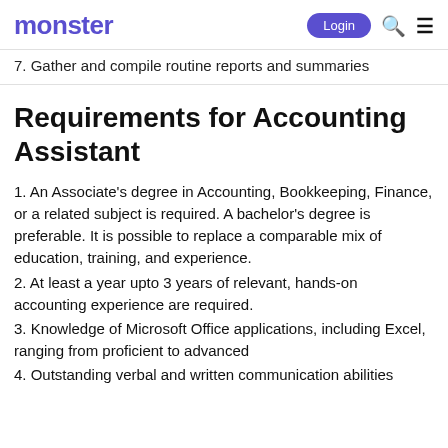monster  Login 🔍 ☰
7. Gather and compile routine reports and summaries
Requirements for Accounting Assistant
1. An Associate's degree in Accounting, Bookkeeping, Finance, or a related subject is required. A bachelor's degree is preferable. It is possible to replace a comparable mix of education, training, and experience.
2. At least a year upto 3 years of relevant, hands-on accounting experience are required.
3. Knowledge of Microsoft Office applications, including Excel, ranging from proficient to advanced
4. Outstanding verbal and written communication abilities